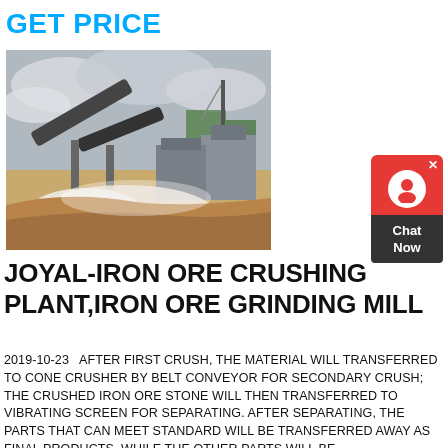GET PRICE
[Figure (photo): Outdoor iron ore crushing plant with conveyor belts, industrial buildings, and excavated earth under a cloudy sky.]
JOYAL-IRON ORE CRUSHING PLANT,IRON ORE GRINDING MILL
2019-10-23   AFTER FIRST CRUSH, THE MATERIAL WILL TRANSFERRED TO CONE CRUSHER BY BELT CONVEYOR FOR SECONDARY CRUSH; THE CRUSHED IRON ORE STONE WILL THEN TRANSFERRED TO VIBRATING SCREEN FOR SEPARATING. AFTER SEPARATING, THE PARTS THAT CAN MEET STANDARD WILL BE TRANSFERRED AWAY AS FINAL PRODUCTS, WHILE THE OTHER PARTS WILL BE